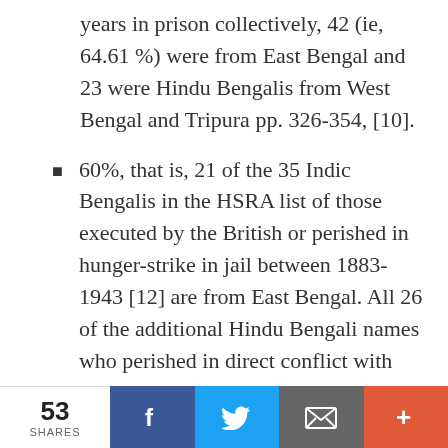years in prison collectively, 42 (ie, 64.61 %) were from East Bengal and 23 were Hindu Bengalis from West Bengal and Tripura pp. 326-354, [10].
60%, that is, 21 of the 35 Indic Bengalis in the HSRA list of those executed by the British or perished in hunger-strike in jail between 1883-1943 [12] are from East Bengal. All 26 of the additional Hindu Bengali names who perished in direct conflict with the British in this
53 SHARES | Facebook | Twitter | Email | More